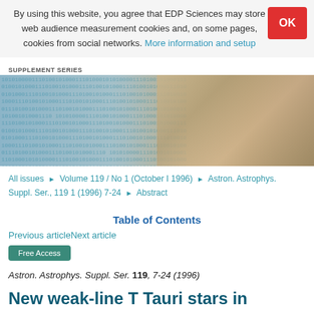By using this website, you agree that EDP Sciences may store web audience measurement cookies and, on some pages, cookies from social networks. More information and setup
SUPPLEMENT SERIES
[Figure (photo): Hero banner image showing binary code / digital data overlay on left half and stacked open books with colored pencils on right half]
All issues ▶ Volume 119 / No 1 (October I 1996) ▶ Astron. Astrophys. Suppl. Ser., 119 1 (1996) 7-24 ▶ Abstract
Table of Contents
Previous articleNext article
Free Access
Astron. Astrophys. Suppl. Ser. 119, 7-24 (1996)
New weak-line T Tauri stars in